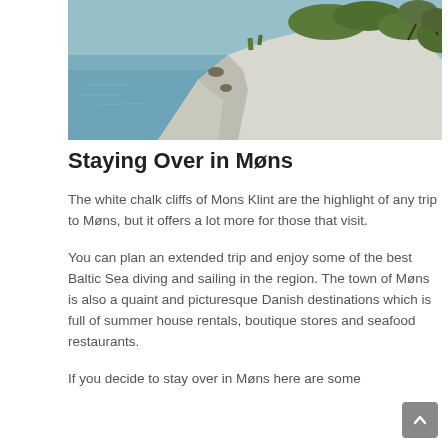[Figure (photo): White chalk cliffs of Mons Klint with turquoise sea water below and green vegetation/trees on top and to the right of the cliffs.]
Staying Over in Møns
The white chalk cliffs of Mons Klint are the highlight of any trip to Møns, but it offers a lot more for those that visit.
You can plan an extended trip and enjoy some of the best Baltic Sea diving and sailing in the region. The town of Møns is also a quaint and picturesque Danish destinations which is full of summer house rentals, boutique stores and seafood restaurants.
If you decide to stay over in Møns here are some